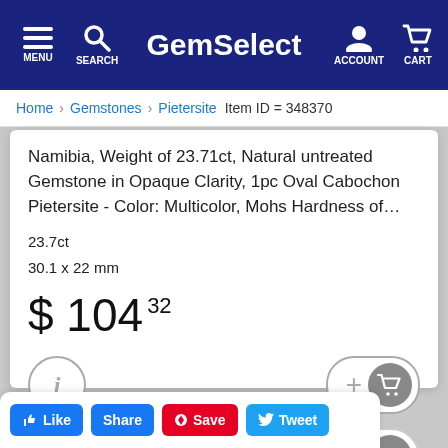GemSelect — MENU SEARCH ACCOUNT CART
Home > Gemstones > Pietersite   Item ID = 348370
Namibia, Weight of 23.71ct, Natural untreated Gemstone in Opaque Clarity, 1pc Oval Cabochon Pietersite - Color: Multicolor, Mohs Hardness of…
23.7ct
30.1 x 22 mm
$ 104 32
[Figure (infographic): Info button (i circle) and Add to Cart button (+ cart icon)]
[Figure (infographic): Buy Now button with right arrow]
Like  Share  Save  Tweet